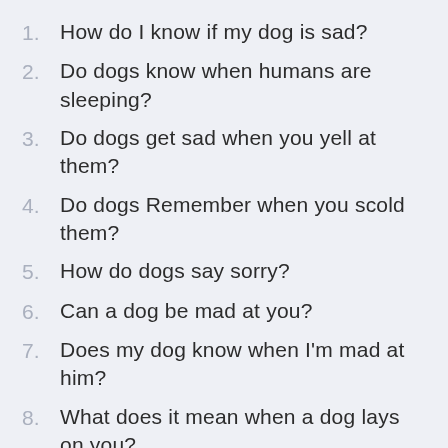1. How do I know if my dog is sad?
2. Do dogs know when humans are sleeping?
3. Do dogs get sad when you yell at them?
4. Do dogs Remember when you scold them?
5. How do dogs say sorry?
6. Can a dog be mad at you?
7. Does my dog know when I'm mad at him?
8. What does it mean when a dog lays on you?
9. How do you tell if your dog loves you?
10. Do dogs understand when you